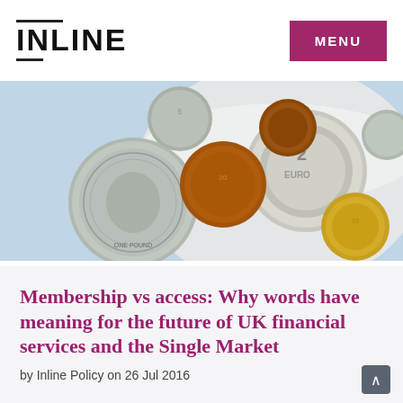INLINE
[Figure (photo): Assorted European coins including a British one pound coin and euro coins scattered on a light blue surface and inside a white bowl.]
Membership vs access: Why words have meaning for the future of UK financial services and the Single Market
by Inline Policy on 26 Jul 2016